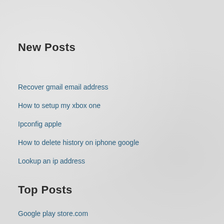New Posts
Recover gmail email address
How to setup my xbox one
Ipconfig apple
How to delete history on iphone google
Lookup an ip address
Top Posts
Google play store.com